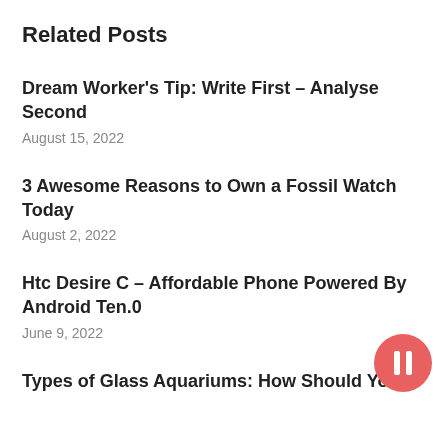Related Posts
Dream Worker's Tip: Write First – Analyse Second
August 15, 2022
3 Awesome Reasons to Own a Fossil Watch Today
August 2, 2022
Htc Desire C – Affordable Phone Powered By Android Ten.0
June 9, 2022
Types of Glass Aquariums: How Should You